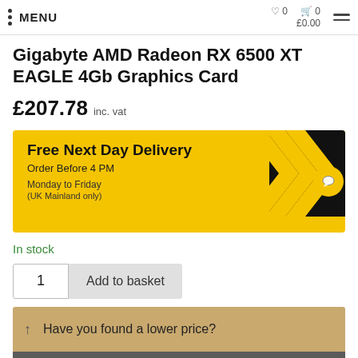MENU  ♡ 0  🛒 0  £0.00
Gigabyte AMD Radeon RX 6500 XT EAGLE 4Gb Graphics Card
£207.78 inc. vat
[Figure (infographic): Yellow delivery banner with black chevrons on the right side. Text reads: Free Next Day Delivery, Order Before 4 PM, Monday to Friday (UK Mainland only)]
In stock
1  Add to basket
Have you found a lower price?
Estimated FREE delivery by Friday 26th, August